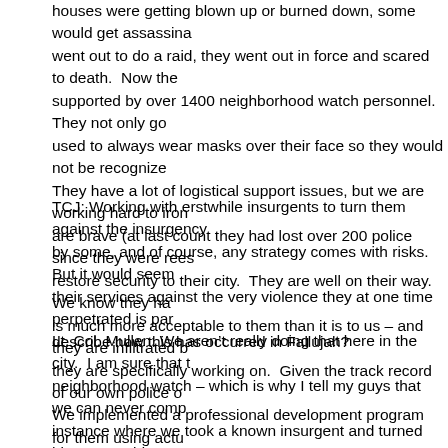houses were getting blown up or burned down, some would get assassina... went out to do a raid, they went out in force and scared to death.  Now the supported by over 1400 neighborhood watch personnel.  They not only go used to always wear masks over their face so they would not be recognize They have a lot of logistical support issues, but we are working hard to iron are brave (at last count they had lost over 200 police since they were rees restore security to their city.  They are well on their way.  We know they ha is much more acceptable to them than it is to us – and they are infiltrated b they are specifically working on.  Given the track record of our own police o We implemented a professional development program for them using actu over to train police here and it is starting to reap positive results.  They hav purpose in the right direction.
TCJ: Working with erstwhile insurgents to turn them against the insurgency by some, and of course, any strategy comes with risks.  But it would seem their services against the very violence they at one time perpetrated is par describe how this has occurred in Fallujah?
Lt. Col. Mullen: We aren't really doing that here in the city.  I am sure that t neighborhood watch – which is why I tell my guys that we can never comp instance where we took a known insurgent and turned him to our side.  We have either been detained, or fled the city.  The ones remaining spend a lo instead of planning on how they will attack us.  We keep the pressure on t